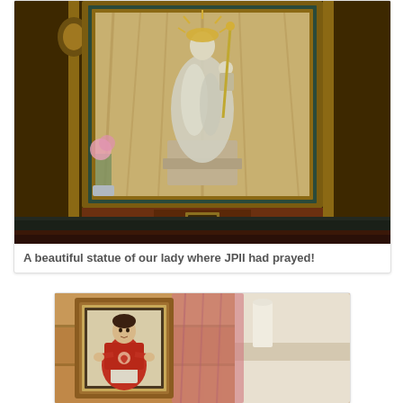[Figure (photo): Photograph of a beautiful ornate church altar with a statue of Our Lady (Virgin Mary) in an elaborate gold-framed niche with baroque decorative elements, flowers visible to the left, and dark wooden altar rails in the foreground.]
A beautiful statue of our lady where JPII had prayed!
[Figure (photo): Photograph of a framed religious icon or painting depicting a saint (possibly in red vestments with sacred heart imagery) placed on what appears to be wooden church steps or pews, with pink/red fabric visible in the background.]